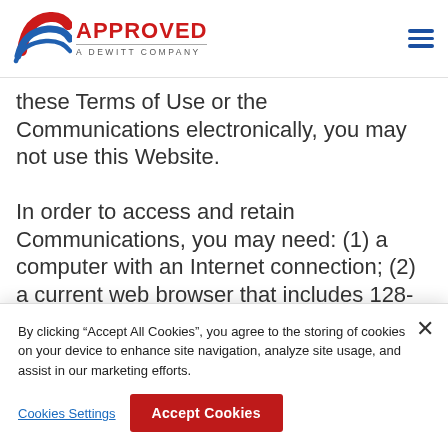APPROVED A DeWitt Company
these Terms of Use or the Communications electronically, you may not use this Website. In order to access and retain Communications, you may need: (1) a computer with an Internet connection; (2) a current web browser that includes 128-bit encryption (e.g., Internet
By clicking “Accept All Cookies”, you agree to the storing of cookies on your device to enhance site navigation, analyze site usage, and assist in our marketing efforts.
Cookies Settings   Accept Cookies